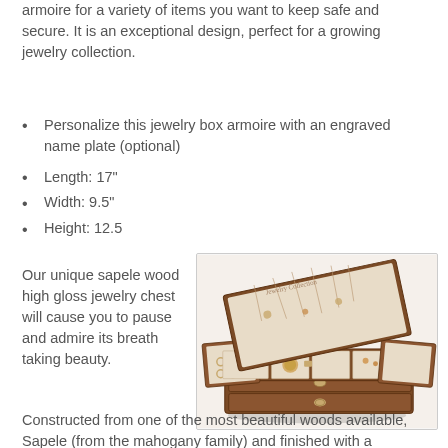armoire for a variety of items you want to keep safe and secure. It is an exceptional design, perfect for a growing jewelry collection.
Personalize this jewelry box armoire with an engraved name plate (optional)
Length: 17"
Width: 9.5"
Height: 12.5
Our unique sapele wood high gloss jewelry chest will cause you to pause and admire its breath taking beauty.
[Figure (photo): Open wooden jewelry chest/armoire showing interior compartments with jewelry, drawers at bottom, made of dark wood with light interior lining]
Constructed from one of the most beautiful woods available, Sapele (from the mahogany family) and finished with a luxurious high gloss, this jewelry